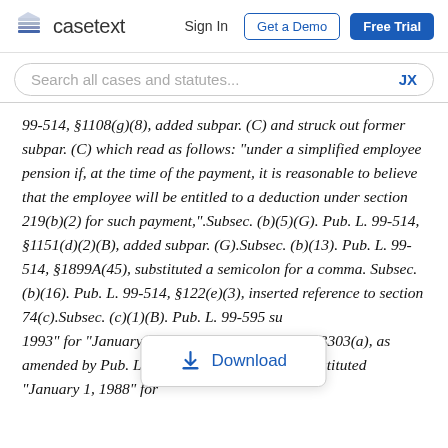casetext  Sign In  Get a Demo  Free Trial
Search all cases and statutes...  JX
99-514, §1108(g)(8), added subpar. (C) and struck out former subpar. (C) which read as follows: "under a simplified employee pension if, at the time of the payment, it is reasonable to believe that the employee will be entitled to a deduction under section 219(b)(2) for such payment,".Subsec. (b)(5)(G). Pub. L. 99-514, §1151(d)(2)(B), added subpar. (G).Subsec. (b)(13). Pub. L. 99-514, §1899A(45), substituted a semicolon for a comma. Subsec. (b)(16). Pub. L. 99-514, §122(e)(3), inserted reference to section 74(c).Subsec. (c)(1)(B). Pub. L. 99-595 su... 1993" for "January 1, 1988".Pub. L. 99-272, §13303(a), as amended by Pub. L. 100-647, §1018(u)(59), substituted "January 1, 1988" for
[Figure (other): Download button popup overlay]